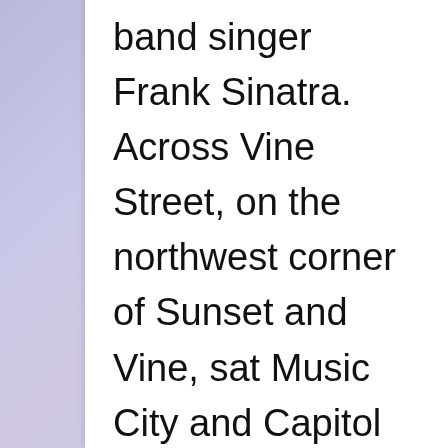band singer Frank Sinatra. Across Vine Street, on the northwest corner of Sunset and Vine, sat Music City and Capitol Records, operated by bothers